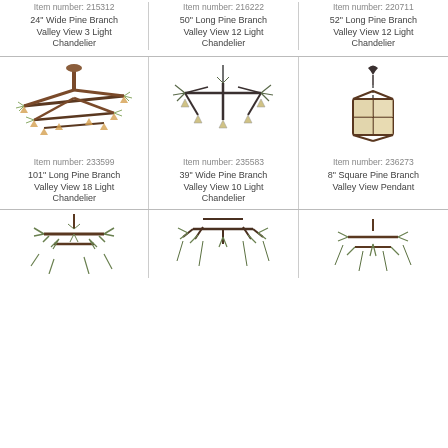Item number: 215312
24" Wide Pine Branch Valley View 3 Light Chandelier
Item number: 216222
50" Long Pine Branch Valley View 12 Light Chandelier
Item number: 220711
52" Long Pine Branch Valley View 12 Light Chandelier
[Figure (photo): Pine branch chandelier with multiple lights - Item 233599]
Item number: 233599
101" Long Pine Branch Valley View 18 Light Chandelier
[Figure (photo): Pine branch chandelier - Item 235583]
Item number: 235583
39" Wide Pine Branch Valley View 10 Light Chandelier
[Figure (photo): Square pine branch pendant lamp - Item 236273]
Item number: 236273
8" Square Pine Branch Valley View Pendant
[Figure (photo): Partial view of pine branch chandeliers, bottom of page]